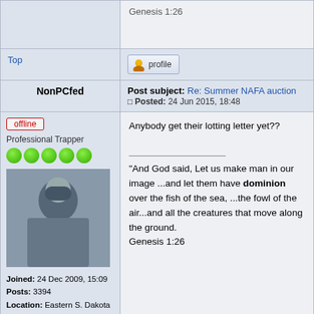Genesis 1:26 (partial top)
Top
[Figure (screenshot): Profile button with user icon]
NonPCfed
Post subject: Re: Summer NAFA auction  Posted: 24 Jun 2015, 18:48
offline
Professional Trapper
Joined: 24 Dec 2009, 15:09
Posts: 3394
Location: Eastern S. Dakota
Anybody get their lotting letter yet??

"And God said, Let us make man in our image ...and let them have dominion over the fish of the sea, ...the fowl of the air...and all the creatures that move along the ground.
Genesis 1:26
Top
[Figure (screenshot): Profile button with user icon]
WCS
Post subject: Re: Summer NAFA auction  Posted: 25 Jun 2015, 10:03
offline
Mine were posted this morning.